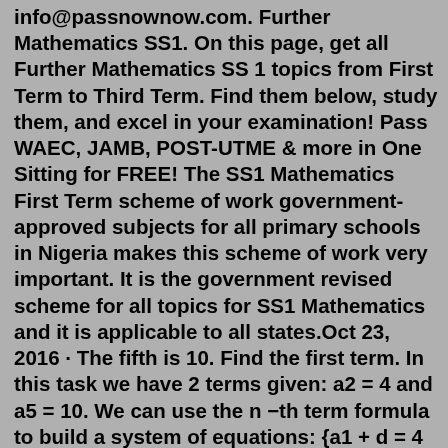info@passnownow.com. Further Mathematics SS1. On this page, get all Further Mathematics SS 1 topics from First Term to Third Term. Find them below, study them, and excel in your examination! Pass WAEC, JAMB, POST-UTME & more in One Sitting for FREE! The SS1 Mathematics First Term scheme of work government-approved subjects for all primary schools in Nigeria makes this scheme of work very important. It is the government revised scheme for all topics for SS1 Mathematics and it is applicable to all states.Oct 23, 2016 · The fifth is 10. Find the first term. In this task we have 2 terms given: a2 = 4 and a5 = 10. We can use the n −th term formula to build a system of equations: {a1 + d = 4 a1 + 4d = 10. If we subtract the first equation from the second we can calculate d: 3d = 6; d = 2. Now if we substitute the calculated value we see that: a1 + 2 = 4, so a1 = 2. Questions and Answers 1. Make w the subject of the formula of the relation (a + bc)/(wd + f)= g A. (a + bc - fg)/dg B. (a - bc + fg)/dg C. (a + bc - f)/dg D. (a + bc -